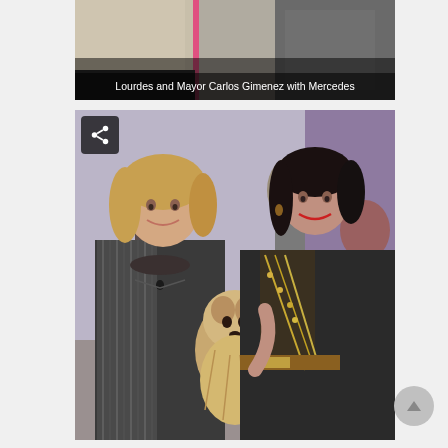[Figure (photo): Top cropped photo showing partial view of people at a formal event, with a pink vertical accent visible]
Lourdes and Mayor Carlos Gimenez with Mercedes
[Figure (photo): Two well-dressed women at a formal evening event, one with blonde hair wearing a striped jacket and black necklace, one with dark hair in a black embellished outfit, holding a small Yorkshire Terrier dog between them. A share icon button is visible in the top-left corner of the photo.]